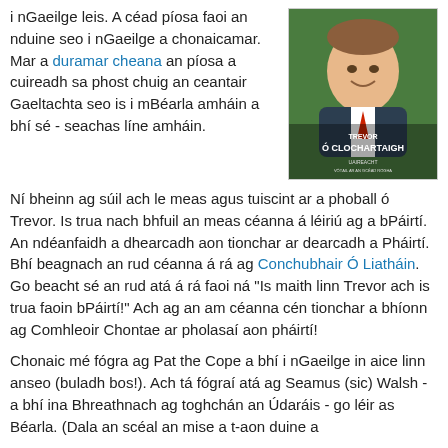i nGaeilge leis. A céad píosa faoi an nduine seo i nGaeilge a chonaicamar. Mar a duramar cheana an píosa a cuireadh sa phost chuig an ceantair Gaeltachta seo is i mBéarla amháin a bhí sé - seachas líne amháin.
[Figure (photo): Photo of a man smiling, with a green campaign poster for 'Trevor Ó Clochartaigh' visible behind him.]
Ní bheinn ag súil ach le meas agus tuiscint ar a phoball ó Trevor. Is trua nach bhfuil an meas céanna á léiriú ag a bPáirtí. An ndéanfaidh a dhearcadh aon tionchar ar dearcadh a Pháirtí. Bhí beagnach an rud céanna á rá ag Conchubhair Ó Liatháin. Go beacht sé an rud atá á rá faoi ná "Is maith linn Trevor ach is trua faoin bPáirtí!" Ach ag an am céanna cén tionchar a bhíonn ag Comhleoir Chontae ar pholasaí aon pháirtí!
Chonaic mé fógra ag Pat the Cope a bhí i nGaeilge in aice linn anseo (buladh bos!). Ach tá fógraí atá ag Seamus (sic) Walsh - a bhí ina Bhreathnach ag toghchán an Údaráis - go léir as Béarla. (Dala an scéal an mise a t-aon duine a